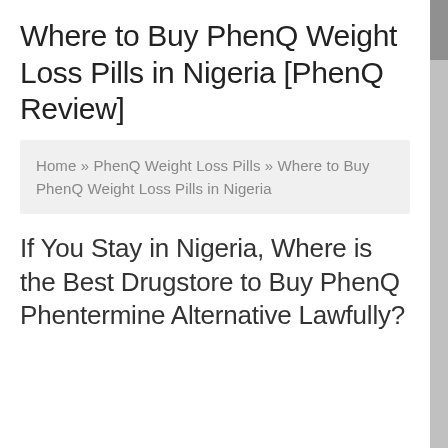Where to Buy PhenQ Weight Loss Pills in Nigeria [PhenQ Review]
Home » PhenQ Weight Loss Pills » Where to Buy PhenQ Weight Loss Pills in Nigeria
If You Stay in Nigeria, Where is the Best Drugstore to Buy PhenQ Phentermine Alternative Lawfully?